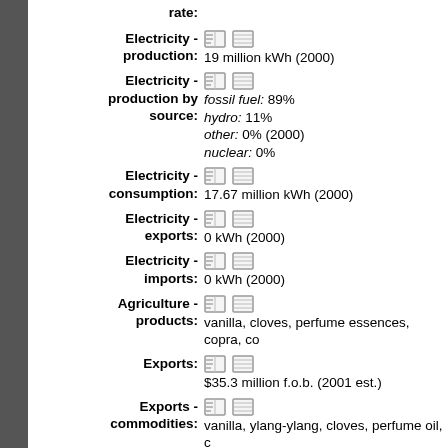rate:
Electricity - production: 19 million kWh (2000)
Electricity - production by source: fossil fuel: 89% hydro: 11% other: 0% (2000) nuclear: 0%
Electricity - consumption: 17.67 million kWh (2000)
Electricity - exports: 0 kWh (2000)
Electricity - imports: 0 kWh (2000)
Agriculture - products: vanilla, cloves, perfume essences, copra, co...
Exports: $35.3 million f.o.b. (2001 est.)
Exports - commodities: vanilla, ylang-ylang, cloves, perfume oil, c...